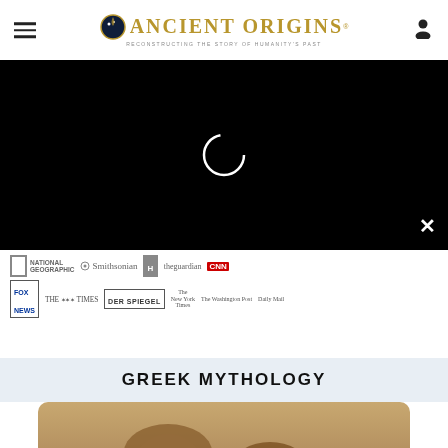Ancient Origins — Reconstructing the story of humanity's past
[Figure (screenshot): Black video player area with loading spinner circle and close X button]
[Figure (infographic): Row of media partner logos: National Geographic, Smithsonian, History Channel, The Guardian, CNN, Fox News, The Sunday Times, Der Spiegel, The New York Times, The Washington Post, Daily Mail]
GREEK MYTHOLOGY
[Figure (photo): Greek mythology article hero image showing classical stone busts/sculptures]